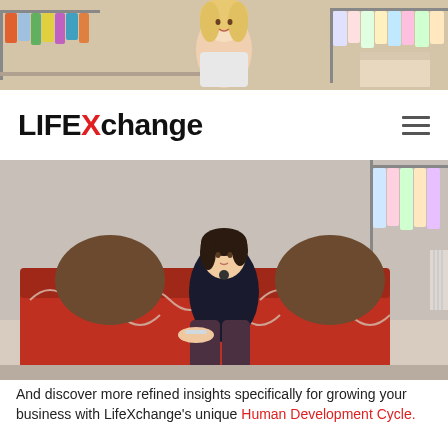[Figure (photo): Top banner photo of a clothing store/rack with a blonde woman, colorful garments on hangers, and boxes in background]
[Figure (logo): LifeXchange logo with 'Life' in black, 'X' in red, 'change' in black, and a hamburger menu icon on the right]
[Figure (photo): Woman in black outfit sitting on a red patterned sofa/couch with brown cushions in a clothing store]
And discover more refined insights specifically for growing your business with LifeXchange's unique Human Development Cycle.
[Figure (photo): Man in white shirt and tie with arms spread wide against a blue sky with mountains — freedom/success concept photo]